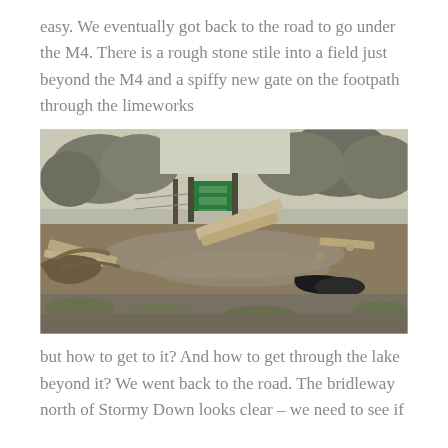easy. We eventually got back to the road to go under the M4. There is a rough stone stile into a field just beyond the M4 and a spiffy new gate on the footpath through the limeworks
[Figure (photo): Muddy flooded footpath with scattered wooden planks and debris. A green metal gate is visible in the background, flanked by wooden posts, surrounded by trees and shrubs. The foreground shows waterlogged muddy ground with pieces of wood and a black object on the right.]
but how to get to it? And how to get through the lake beyond it? We went back to the road. The bridleway north of Stormy Down looks clear – we need to see if